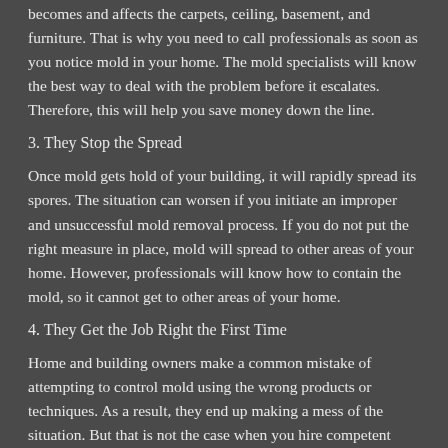becomes and affects the carpets, ceiling, basement, and furniture. That is why you need to call professionals as soon as you notice mold in your home. The mold specialists will know the best way to deal with the problem before it escalates. Therefore, this will help you save money down the line.
3. They Stop the Spread
Once mold gets hold of your building, it will rapidly spread its spores. The situation can worsen if you initiate an improper and unsuccessful mold removal process. If you do not put the right measure in place, mold will spread to other areas of your home. However, professionals will know how to contain the mold, so it cannot get to other areas of your home.
4. They Get the Job Right the First Time
Home and building owners make a common mistake of attempting to control mold using the wrong products or techniques. As a result, they end up making a mess of the situation. But that is not the case when you hire competent mold removal experts. These professionals will start by testing the species of mold present in your space so that they can strategize the best way to remove it. If you hire a team with the